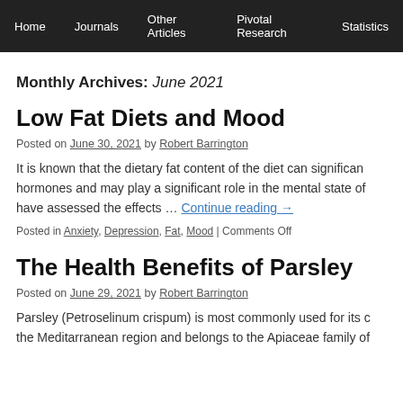Home | Journals | Other Articles | Pivotal Research | Statistics
Monthly Archives: June 2021
Low Fat Diets and Mood
Posted on June 30, 2021 by Robert Barrington
It is known that the dietary fat content of the diet can significantly affect hormones and may play a significant role in the mental state of... Continue reading →
Posted in Anxiety, Depression, Fat, Mood | Comments Off
The Health Benefits of Parsley
Posted on June 29, 2021 by Robert Barrington
Parsley (Petroselinum crispum) is most commonly used for its... the Meditarranean region and belongs to the Apiaceae family of...